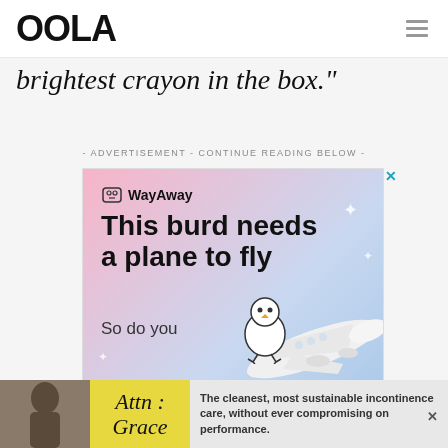OOLA
brightest crayon in the box."
- ADVERTISEMENT - CONTINUE READING BELOW -
[Figure (illustration): WayAway travel advertisement with gradient pink-to-blue background. Shows WayAway logo with cartoon bird mascot, bold headline 'This burd needs a plane to fly', subtext 'So do you', sparkle decorations, cartoon bird mascot and airplane illustration.]
[Figure (illustration): Bottom banner advertisement for Attn: Grace incontinence care products with yellow middle section showing 'Attn: Grace' text and body image on left side. Text reads: 'The cleanest, most sustainable incontinence care, without ever compromising on performance.']